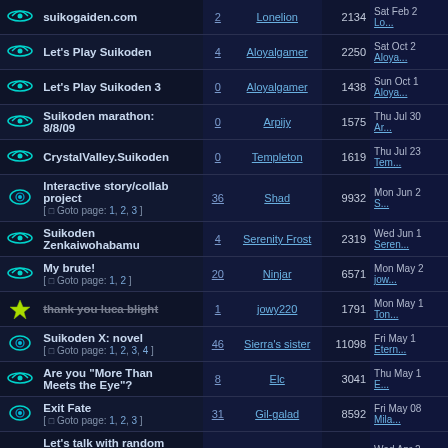|  | Topic | Replies | Author | Views | Last Post |
| --- | --- | --- | --- | --- | --- |
| [ship] | suikogaiden.com | 2 | Lonelion | 2134 | Sat Feb 2
Lo... |
| [ship] | Let's Play Suikoden | 4 | Aloyalgamer | 2250 | Sat Oct 2
Aloya... |
| [ship] | Let's Play Suikoden 3 | 0 | Aloyalgamer | 1438 | Sun Oct 1
Aloya... |
| [ship] | Suikoden marathon: 8/8/09 | 0 | Arpijy | 1575 | Thu Jul 30
Ar... |
| [ship] | CrystalValley.Suikoden | 0 | Templeton | 1619 | Thu Jul 23
Tem... |
| [eye] | Interactive story/collab project
[ Goto page: 1, 2, 3 ] | 36 | Shad | 9932 | Mon Jun 2
S... |
| [ship] | Suikoden Zenkaiwohabamu | 4 | Serenity Frost | 2319 | Wed Jun 1
Seren... |
| [ship] | My brute!
[ Goto page: 1, 2 ] | 20 | Ninjar | 6571 | Mon May 2
jow... |
| [bolt] | thank you luca blight (strikethrough) | 1 | jowy220 | 1791 | Mon May 1
Ton... |
| [eye] | Suikoden X: novel
[ Goto page: 1, 2, 3, 4 ] | 46 | Sierra's sister | 11098 | Fri May 1
Etern... |
| [ship] | Are you "More Than Meets the Eye"? | 8 | Elc | 3041 | Thu May 1
E... |
| [eye] | Exit Fate
[ Goto page: 1, 2, 3 ] | 31 | Gil-galad | 8592 | Fri May 08
Mila... |
| [ship] | Let's talk with random people from around the wooooorld | 1 | Archy | 1675 | Wed Apr 2
Serat... |